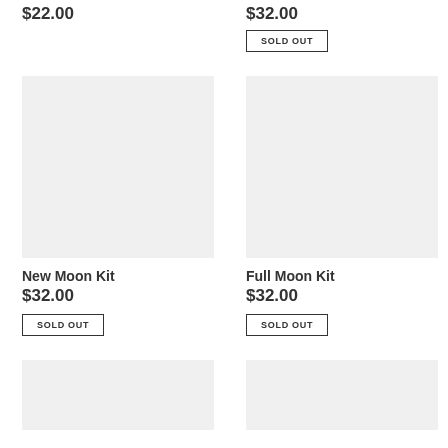$22.00
$32.00
SOLD OUT
[Figure (other): Product image placeholder - light gray square]
[Figure (other): Product image placeholder - light gray square]
New Moon Kit
$32.00
SOLD OUT
Full Moon Kit
$32.00
SOLD OUT
[Figure (other): Product image placeholder - light gray square (partial, bottom of page)]
[Figure (other): Product image placeholder - light gray square (partial, bottom of page)]